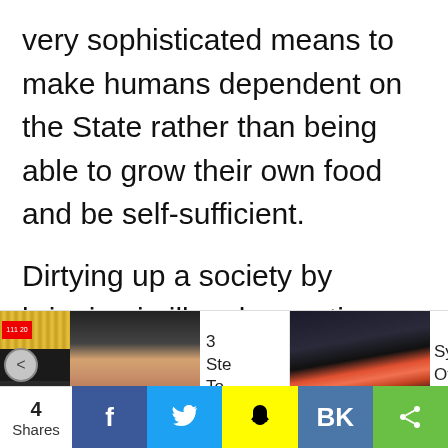very sophisticated means to make humans dependent on the State rather than being able to grow their own food and be self-sufficient.
Dirtying up a society by bringing in illegal narcotics, promoting various destructive addictions of all varieties
[Figure (screenshot): Website ad carousel strip showing thumbnails with text: '3 Ste To' and 'Sy Of', with navigation arrows and a close X button]
[Figure (infographic): Social sharing bar showing 4 Shares, Facebook, Twitter, Snapchat, VK, and a share icon button]